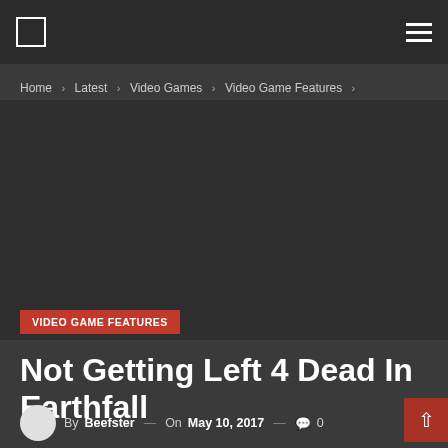Navigation bar with logo and menu icon
Home › Latest › Video Games › Video Game Features ›
[Figure (photo): Dark placeholder image area for article hero image]
VIDEO GAME FEATURES
Not Getting Left 4 Dead In Earthfall
By Beefster — On May 10, 2017 — 0